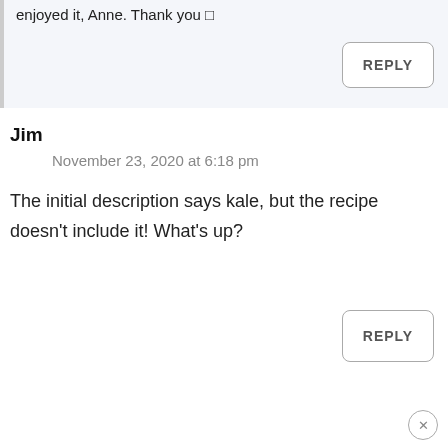enjoyed it, Anne. Thank you 🙂
REPLY
Jim
November 23, 2020 at 6:18 pm
The initial description says kale, but the recipe doesn't include it! What's up?
REPLY